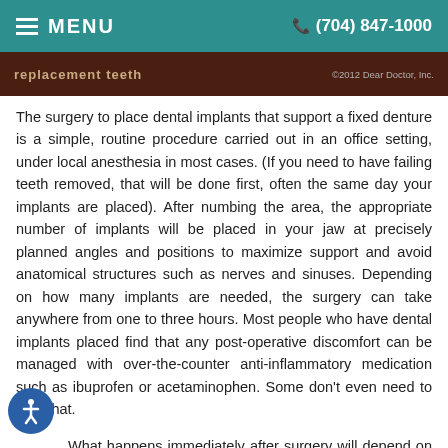MENU  (704) 847-1000
[Figure (screenshot): Dark brown image strip with partial text 'replacement teeth' and copyright '© 2012 Dear Doctor, Inc.']
The surgery to place dental implants that support a fixed denture is a simple, routine procedure carried out in an office setting, under local anesthesia in most cases. (If you need to have failing teeth removed, that will be done first, often the same day your implants are placed). After numbing the area, the appropriate number of implants will be placed in your jaw at precisely planned angles and positions to maximize support and avoid anatomical structures such as nerves and sinuses. Depending on how many implants are needed, the surgery can take anywhere from one to three hours. Most people who have dental implants placed find that any post-operative discomfort can be managed with over-the-counter anti-inflammatory medication such as ibuprofen or acetaminophen. Some don't even need to take that.
What happens immediately after surgery will depend on what's best to promote healing in your individual situation. Sometimes a set of temporary teeth can be attached immediately, so that you can leave the office with new